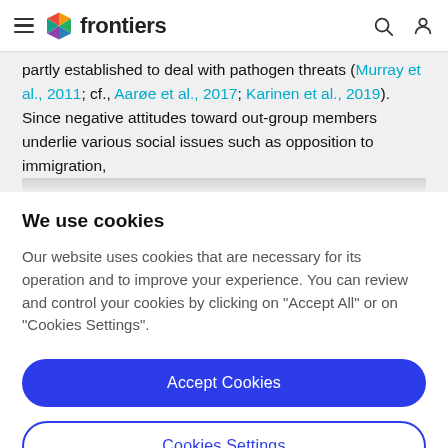frontiers
partly established to deal with pathogen threats (Murray et al., 2011; cf., Aarøe et al., 2017; Karinen et al., 2019). Since negative attitudes toward out-group members underlie various social issues such as opposition to immigration,
We use cookies
Our website uses cookies that are necessary for its operation and to improve your experience. You can review and control your cookies by clicking on "Accept All" or on "Cookies Settings".
Accept Cookies
Cookies Settings